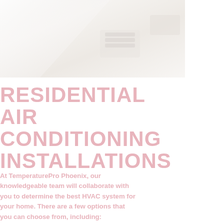[Figure (photo): Faded/washed out photo of an air conditioning unit or HVAC installation, with diagonal geometric shapes, very light pinkish-white tones]
RESIDENTIAL AIR CONDITIONING INSTALLATIONS
At TemperaturePro Phoenix, our knowledgeable team will collaborate with you to determine the best HVAC system for your home. There are a few options that you can choose from, including: